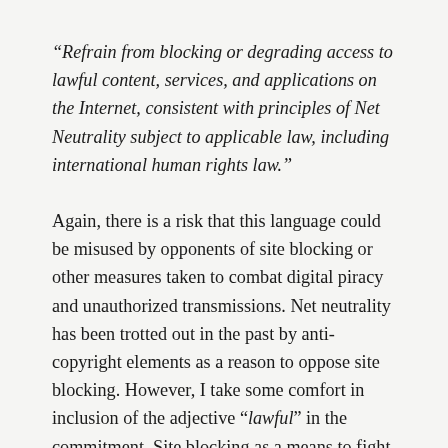“Refrain from blocking or degrading access to lawful content, services, and applications on the Internet, consistent with principles of Net Neutrality subject to applicable law, including international human rights law.”
Again, there is a risk that this language could be misused by opponents of site blocking or other measures taken to combat digital piracy and unauthorized transmissions. Net neutrality has been trotted out in the past by anti-copyright elements as a reason to oppose site blocking. However, I take some comfort in inclusion of the adjective “lawful” in the commitment. Site blocking as a means to fight online piracy has been instituted in a number